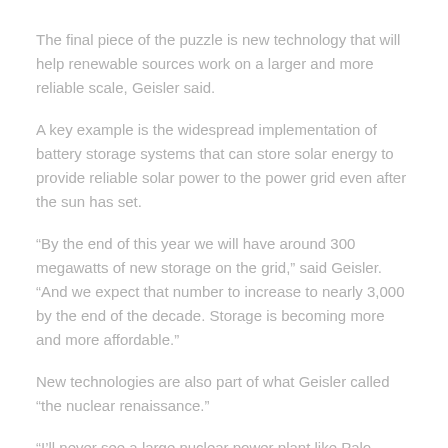The final piece of the puzzle is new technology that will help renewable sources work on a larger and more reliable scale, Geisler said.
A key example is the widespread implementation of battery storage systems that can store solar energy to provide reliable solar power to the power grid even after the sun has set.
“By the end of this year we will have around 300 megawatts of new storage on the grid,” said Geisler. “And we expect that number to increase to nearly 3,000 by the end of the decade. Storage is becoming more and more affordable.”
New technologies are also part of what Geisler called “the nuclear renaissance.”
“I’ll never see a large nuclear power plant like Palo Verde being built again,” said Geisler. “But there’s a lot of interest and investment in small nuclear, small modular reactors, which we call SMRs.”